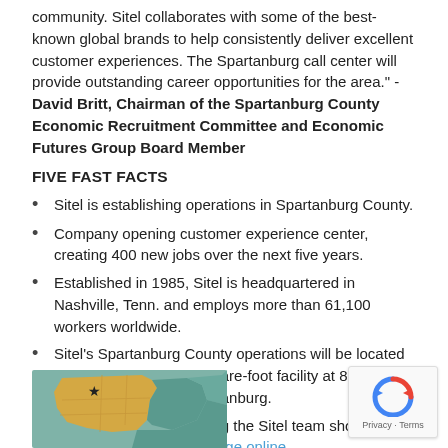community. Sitel collaborates with some of the best-known global brands to help consistently deliver excellent customer experiences. The Spartanburg call center will provide outstanding career opportunities for the area." -David Britt, Chairman of the Spartanburg County Economic Recruitment Committee and Economic Futures Group Board Member
FIVE FAST FACTS
Sitel is establishing operations in Spartanburg County.
Company opening customer experience center, creating 400 new jobs over the next five years.
Established in 1985, Sitel is headquartered in Nashville, Tenn. and employs more than 61,100 workers worldwide.
Sitel's Spartanburg County operations will be located in an existing 47,000-square-foot facility at 895 Springfield Road in Spartanburg.
Those interested in joining the Sitel team should visit the company's careers page online.
[Figure (map): Map showing Spartanburg County highlighted in yellow/gold with a star marker, surrounded by neighboring counties in teal/green tones.]